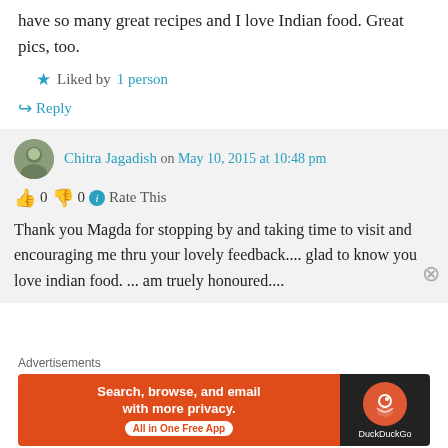have so many great recipes and I love Indian food. Great pics, too.
★ Liked by 1 person
↪ Reply
Chitra Jagadish on May 10, 2015 at 10:48 pm
👍 0 👎 0 ℹ Rate This
Thank you Magda for stopping by and taking time to visit and encouraging me thru your lovely feedback.... glad to know you love indian food. ... am truely honoured....
Advertisements
[Figure (other): DuckDuckGo advertisement banner: 'Search, browse, and email with more privacy. All in One Free App' with DuckDuckGo logo on dark background]